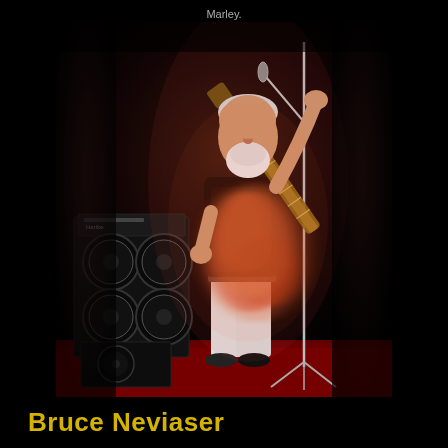Marley.
[Figure (photo): A musician with white beard playing bass guitar on stage, with motion blur effect, wearing white pants, with speaker cabinet amplifier behind him and a microphone stand to the right. Stage has red carpet. Dark background.]
Bruce Neviaser